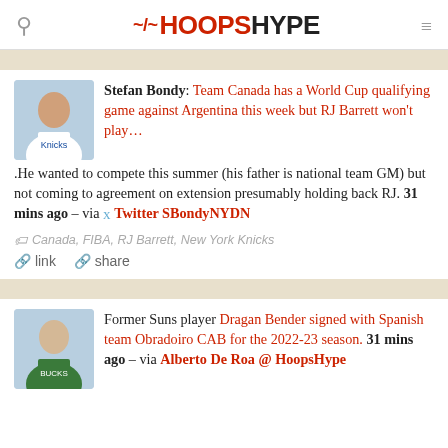HOOPSHYPE
Stefan Bondy: Team Canada has a World Cup qualifying game against Argentina this week but RJ Barrett won't play….He wanted to compete this summer (his father is national team GM) but not coming to agreement on extension presumably holding back RJ. 31 mins ago – via Twitter SBondyNYDN
Canada, FIBA, RJ Barrett, New York Knicks
link  share
Former Suns player Dragan Bender signed with Spanish team Obradoiro CAB for the 2022-23 season. 31 mins ago – via Alberto De Roa @ HoopsHype